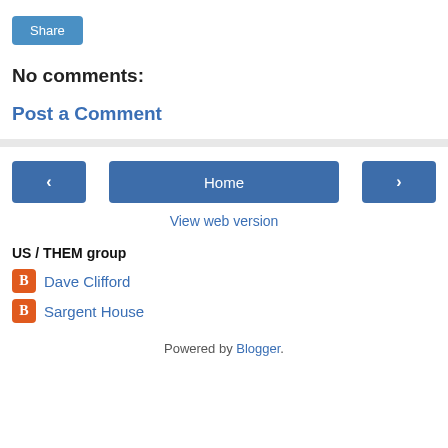[Figure (other): Share button — a blue rounded rectangle with white text 'Share']
No comments:
Post a Comment
View web version
US / THEM group
Dave Clifford
Sargent House
Powered by Blogger.